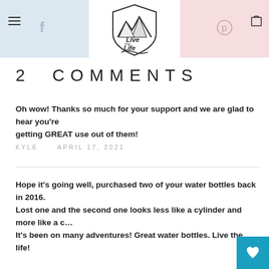Live the Life — website header with Facebook, Pinterest icons and logo
2 COMMENTS
Oh wow! Thanks so much for your support and we are glad to hear you're getting GREAT use out of them!
KYLE   APRIL 17, 2021
Hope it's going well, purchased two of your water bottles back in 2016. Lost one and the second one looks less like a cylinder and more like a c… It's been on many adventures! Great water bottles. Live the life!